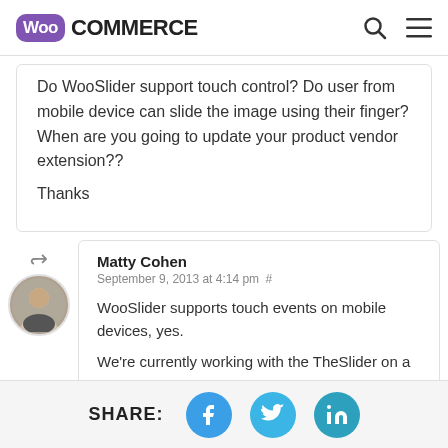WooCommerce
Do WooSlider support touch control? Do user from mobile device can slide the image using their finger? When are you going to update your product vendor extension??

Thanks
Matty Cohen
September 9, 2013 at 4:14 pm #
WooSlider supports touch events on mobile devices, yes.
We're currently working with the TheSlider...
SHARE: